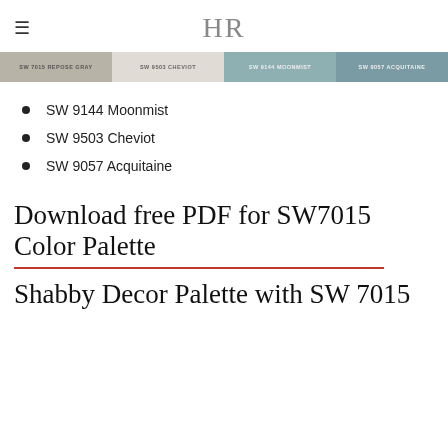HR
[Figure (infographic): Color swatches strip showing four Sherwin-Williams paint colors: SW 7015 Repose Gray (taupe/gray), SW 9503 Cheviot (light gray/beige), SW 9144 Moonmist (muted teal), SW 9057 Acquitaine (blue-gray teal)]
SW 9144 Moonmist
SW 9503 Cheviot
SW 9057 Acquitaine
Download free PDF for SW7015 Color Palette
Shabby Decor Palette with SW 7015